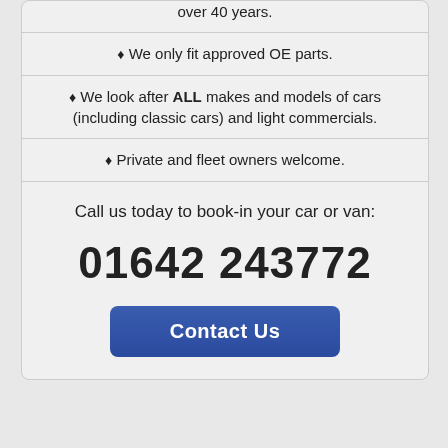over 40 years.
♦ We only fit approved OE parts.
♦ We look after ALL makes and models of cars (including classic cars) and light commercials.
♦ Private and fleet owners welcome.
Call us today to book-in your car or van:
01642 243772
Contact Us